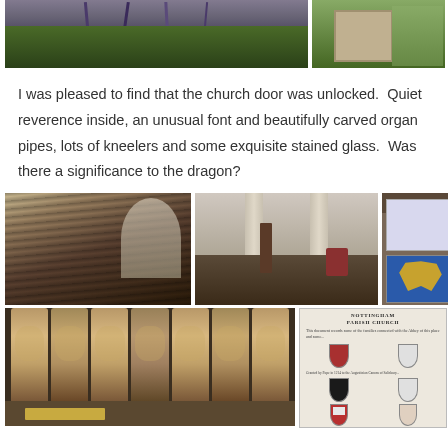[Figure (photo): Two photos at top: left shows purple lavender/flowers with dark tree branches and green grass; right shows a stone building exterior with green lawn]
I was pleased to find that the church door was unlocked.  Quiet reverence inside, an unusual font and beautifully carved organ pipes, lots of kneelers and some exquisite stained glass.  Was there a significance to the dragon?
[Figure (photo): Five photos showing church interior: pews from angle, church aisle, colorful kneelers with heraldic designs including a blue background with yellow dragon, carved organ pipes with decorative gold patterns, and a heraldry information board labeled Nottingham Parish Church]